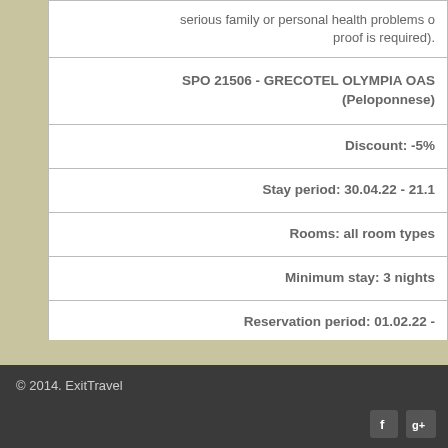| serious family or personal health problems o proof is required). |
| SPO 21506 - GRECOTEL OLYMPIA OAS (Peloponnese) |
| Discount: -5% |
| Stay period: 30.04.22 - 21.1 |
| Rooms: all room types |
| Minimum stay: 3 nights |
| Reservation period: 01.02.22 - |
| УПЛАТА 50% ВЕДНАШ И 50% 21 ДЕН ПРЕ, |
© 2014. ExitTravel